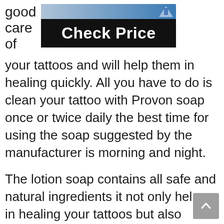good
care
of
[Figure (screenshot): Check Price button — black button with white bold text reading 'Check Price', with a partial product image strip above it]
your tattoos and will help them in healing quickly. All you have to do is clean your tattoo with Provon soap once or twice daily the best time for using the soap suggested by the manufacturer is morning and night.
The lotion soap contains all safe and natural ingredients it not only helps in healing your tattoos but also healing piercings. Which is one of its main purposes. If you have sensitive skin then this soap is perfect and totally